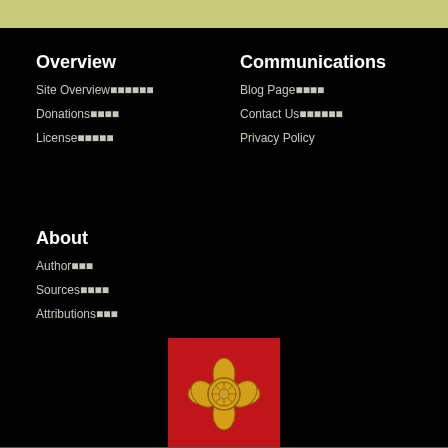Overview
Site Overview
Donations
License
Communications
Blog Page
Contact Us
Privacy Policy
About
Author
Sources
Attributions
[Figure (logo): Red square with gold flower/mon emblem (Japanese family crest style)]